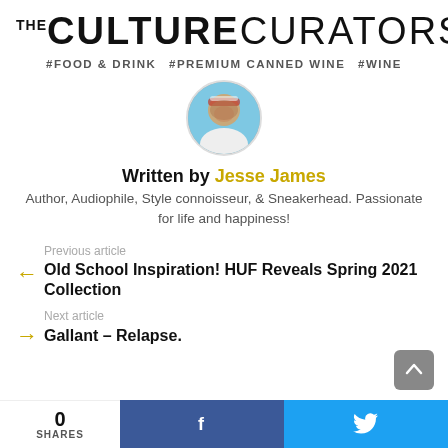[Figure (logo): The Culture Curators logo in bold black text]
#FOOD & DRINK  #PREMIUM CANNED WINE  #WINE
[Figure (photo): Circular avatar photo of Jesse James]
Written by Jesse James
Author, Audiophile, Style connoisseur, & Sneakerhead. Passionate for life and happiness!
Previous article
Old School Inspiration! HUF Reveals Spring 2021 Collection
Next article
Gallant – Relapse.
0 SHARES